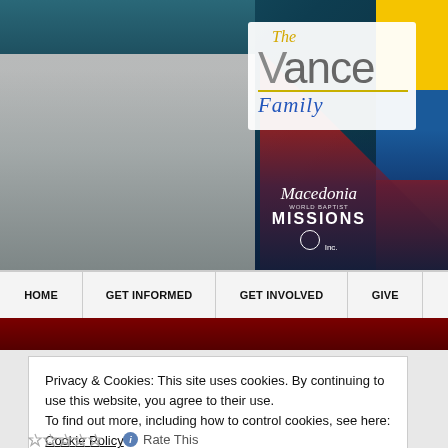[Figure (screenshot): The Vance Family missionary website header. Left side shows a family photo (man in suit, woman in white dress, three young girls) against a teal studio backdrop. Right side has a white logo box reading 'The Vance FAMILY' with a yellow underline. Background includes a red pyramid shape, Colombian flag colors, and a night city skyline. Macedonia World Baptist Missions logo visible bottom right of header.]
[Figure (other): Navigation bar with four menu items: HOME, GET INFORMED, GET INVOLVED, GIVE]
Privacy & Cookies: This site uses cookies. By continuing to use this website, you agree to their use.
To find out more, including how to control cookies, see here: Cookie Policy
Close and accept
Rate This